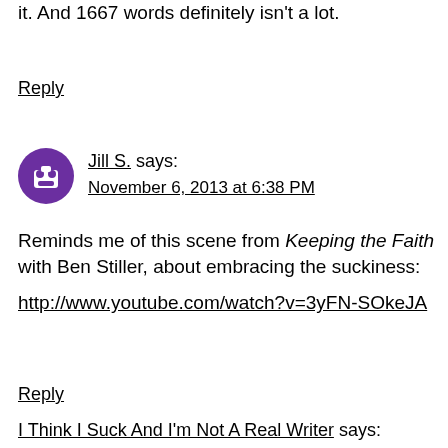it. And 1667 words definitely isn't a lot.
Reply
Jill S. says: November 6, 2013 at 6:38 PM
Reminds me of this scene from Keeping the Faith with Ben Stiller, about embracing the suckiness: http://www.youtube.com/watch?v=3yFN-SOkeJA
Reply
I Think I Suck And I'm Not A Real Writer says: November 6, 2013 at 7:17 PM